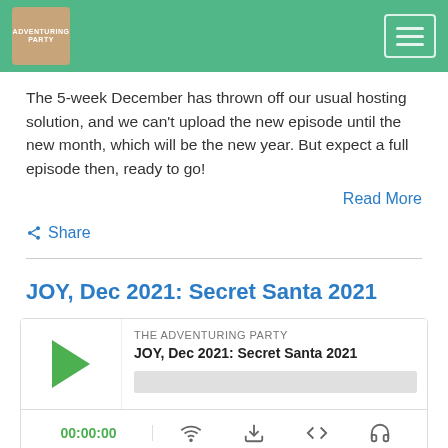[Figure (screenshot): Green header bar with podcast logo image on left and hamburger menu button on right]
The 5-week December has thrown off our usual hosting solution, and we can't upload the new episode until the new month, which will be the new year. But expect a full episode then, ready to go!
Read More
Share
JOY, Dec 2021: Secret Santa 2021
[Figure (screenshot): Podcast audio player widget showing THE ADVENTURING PARTY, JOY Dec 2021: Secret Santa 2021, with play button, progress bar, timestamp 00:00:00, and control icons]
Dec 23, 2021